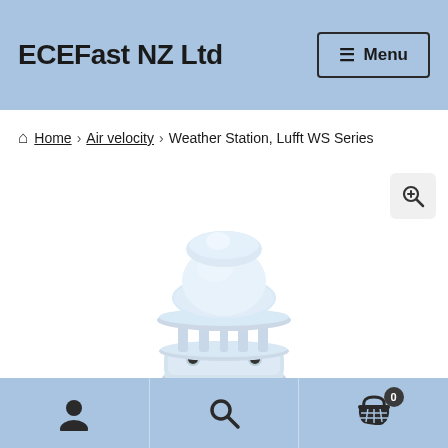ECEFast NZ Ltd  ≡ Menu
Home › Air velocity › Weather Station, Lufft WS Series
[Figure (photo): White compact weather station sensor device (Lufft WS Series) with dome top, ultrasonic wind sensors, and multi-tiered cylindrical body on white background]
User icon | Search icon | Cart (0)